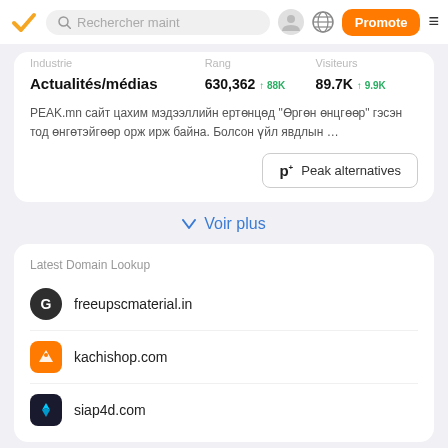Rechercher maint | Promote
| Industrie | Rang | Visiteurs |
| --- | --- | --- |
| Actualités/médias | 630,362 ↑88K | 89.7K ↑9.9K |
PEAK.mn сайт цахим мэдээллийн ертөнцөд "Өргөн өнцгөөр" гэсэн тод өнгөтэйгөөр орж ирж байна. Болсон үйл явдлын ...
Peak alternatives
Voir plus
Latest Domain Lookup
freeupscmaterial.in
kachishop.com
siap4d.com